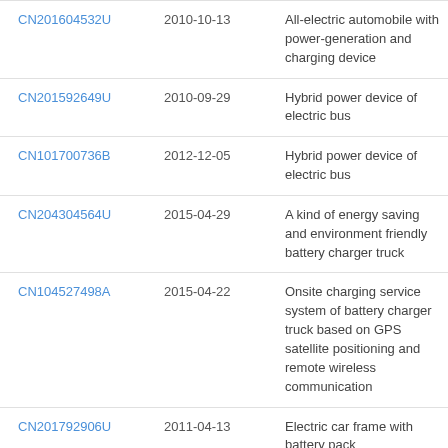| Patent | Date | Description |
| --- | --- | --- |
| CN201604532U | 2010-10-13 | All-electric automobile with power-generation and charging device |
| CN201592649U | 2010-09-29 | Hybrid power device of electric bus |
| CN101700736B | 2012-12-05 | Hybrid power device of electric bus |
| CN204304564U | 2015-04-29 | A kind of energy saving and environment friendly battery charger truck |
| CN104527498A | 2015-04-22 | Onsite charging service system of battery charger truck based on GPS satellite positioning and remote wireless communication |
| CN201792906U | 2011-04-13 | Electric car frame with battery pack |
| CN203876598U | 2014-10-15 | Electric car main-auxiliary battery pack dynamic ... |